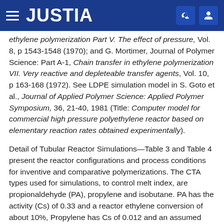JUSTIA
ethylene polymerization Part V. The effect of pressure, Vol. 8, p 1543-1548 (1970); and G. Mortimer, Journal of Polymer Science: Part A-1, Chain transfer in ethylene polymerization VII. Very reactive and depleteable transfer agents, Vol. 10, p 163-168 (1972). See LDPE simulation model in S. Goto et al., Journal of Applied Polymer Science: Applied Polymer Symposium, 36, 21-40, 1981 (Title: Computer model for commercial high pressure polyethylene reactor based on elementary reaction rates obtained experimentally).
Detail of Tubular Reactor Simulations—Table 3 and Table 4 present the reactor configurations and process conditions for inventive and comparative polymerizations. The CTA types used for simulations, to control melt index, are propionaldehyde (PA), propylene and isobutane. PA has the activity (Cs) of 0.33 and a reactor ethylene conversion of about 10%, Propylene has Cs of 0.012 and an assumed reactor ethylene